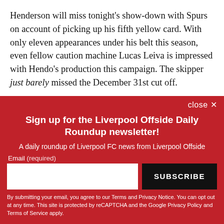Henderson will miss tonight's show-down with Spurs on account of picking up his fifth yellow card. With only eleven appearances under his belt this season, even fellow caution machine Lucas Leiva is impressed with Hendo's production this campaign. The skipper just barely missed the December 31st cut off.
Sign up for the Liverpool Offside Daily Roundup newsletter!
A daily roundup of Liverpool FC news from Liverpool Offside
Email (required)
SUBSCRIBE
By submitting your email, you agree to our Terms and Privacy Notice. You can opt out at any time. This site is protected by reCAPTCHA and the Google Privacy Policy and Terms of Service apply.